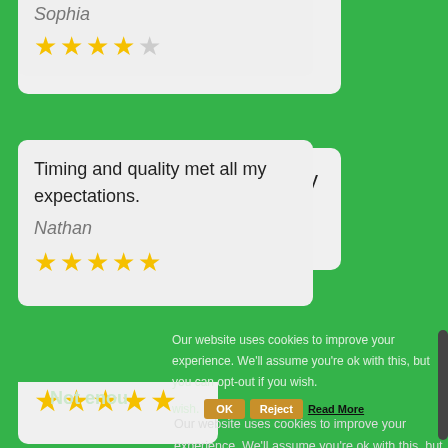Sophia
[Figure (infographic): 4 out of 5 stars rating (4 filled yellow stars, 1 empty grey star)]
Timing and quality met all my expectations.
Nathan
[Figure (infographic): 5 out of 5 stars rating (5 filled yellow stars)]
Our website uses cookies to improve your experience. We'll assume you're ok with this, but you can opt-out if you wish.
OK
Reject
Read More
Not enou